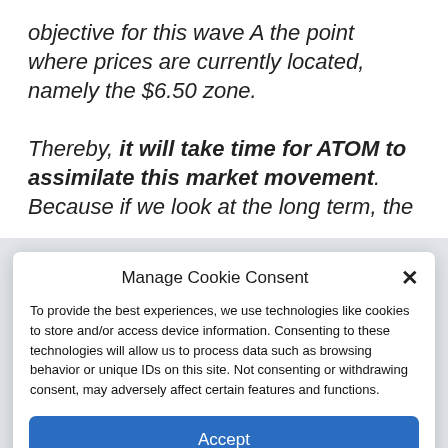objective for this wave A the point where prices are currently located, namely the $6.50 zone.

Thereby, it will take time for ATOM to assimilate this market movement. Because if we look at the long term, the
Manage Cookie Consent
To provide the best experiences, we use technologies like cookies to store and/or access device information. Consenting to these technologies will allow us to process data such as browsing behavior or unique IDs on this site. Not consenting or withdrawing consent, may adversely affect certain features and functions.
Accept
Cookie Policy